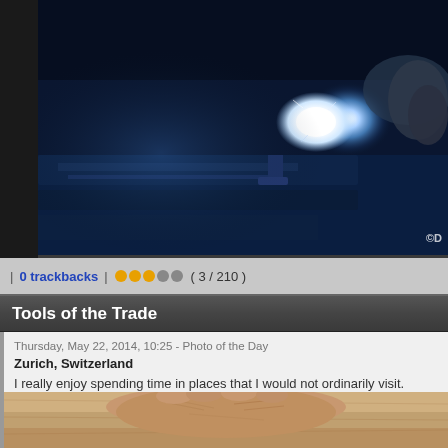[Figure (photo): Welding photo showing bright blue-white welding light with gloved hand, blue metallic tones, copyright watermark bottom right showing '©D']
| 0 trackbacks | ●●●○○ ( 3 / 210 )
Tools of the Trade
Thursday, May 22, 2014, 10:25 - Photo of the Day
Zurich, Switzerland
I really enjoy spending time in places that I would not ordinarily visit.
[Figure (photo): Close-up photo of an elderly person's hand resting on a wooden surface]